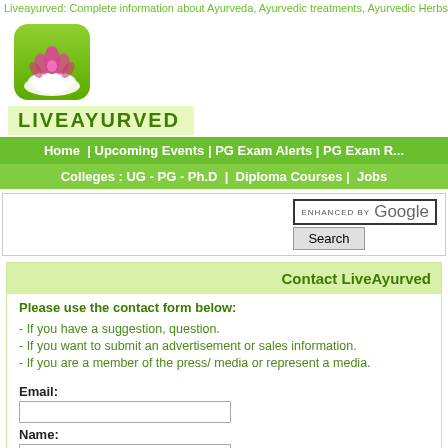Liveayurved: Complete information about Ayurveda, Ayurvedic treatments, Ayurvedic Herbs, Ayurve...
[Figure (logo): LiveAyurved logo: green rounded square with pink lotus flower on a white hand]
LIVEAYURVED
Home | Upcoming Events | PG Exam Alerts | PG Exam R...
Colleges : UG - PG - Ph.D | Diploma Courses | Jobs
ENHANCED BY Google Search
Contact LiveAyurved
Please use the contact form below:
- If you have a suggestion, question.
- If you want to submit an advertisement or sales information.
- If you are a member of the press/ media or represent a media.
Email:
Name: